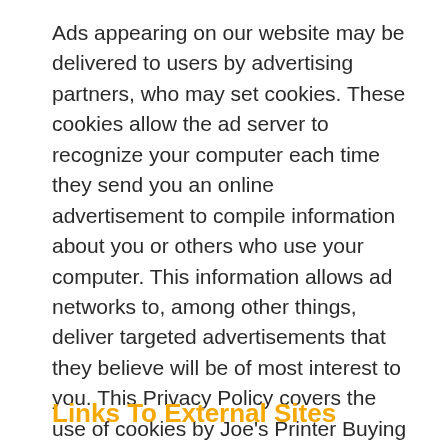Ads appearing on our website may be delivered to users by advertising partners, who may set cookies. These cookies allow the ad server to recognize your computer each time they send you an online advertisement to compile information about you or others who use your computer. This information allows ad networks to, among other things, deliver targeted advertisements that they believe will be of most interest to you. This Privacy Policy covers the use of cookies by Joe's Printer Buying Guide and does not cover the use of cookies by any advertisers.
Links To External Sites